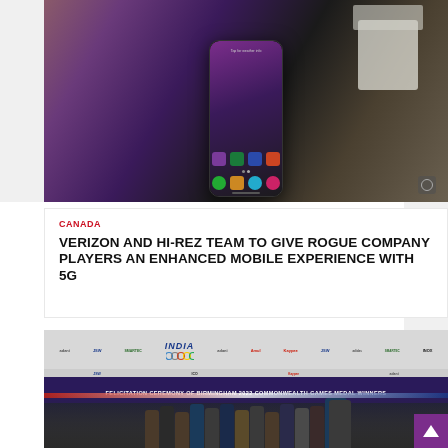[Figure (photo): A smartphone (Samsung Galaxy) displaying its home screen with app icons, placed on a white surface with a blurred background featuring purple/pink tones and green plants]
CANADA
VERIZON AND HI-REZ TEAM TO GIVE ROGUE COMPANY PLAYERS AN ENHANCED MOBILE EXPERIENCE WITH 5G
[Figure (photo): Felicitation Ceremony of Birmingham 2022 Commonwealth Games Medal Winners, showing a group of athletes and officials standing in front of a backdrop with India Olympic logo and various sponsors including Adani, JSW, Amul, adidas, INOX, Borosil]